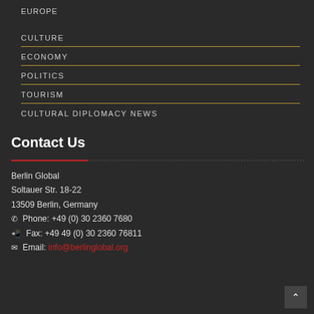EUROPE
CULTURE
ECONOMY
POLITICS
TOURISM
CULTURAL DIPLOMACY NEWS
Contact Us
Berlin Global
Soltauer Str. 18-22
13509 Berlin, Germany
Phone: +49 (0) 30 2360 7680
Fax: +49 49 (0) 30 2360 76811
Email: info@berlinglobal.org